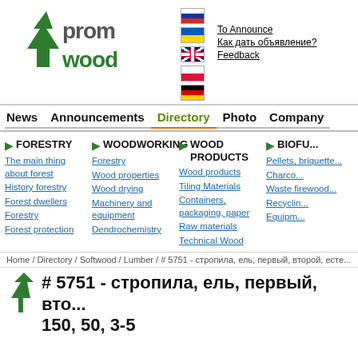[Figure (logo): PromWood logo with green tree and grey/green text, flags for Russia, Ukraine, UK, Poland, Germany, and links: To Announce, Как дать объявление?, Feedback]
News  Announcements  Directory  Photo  Company
FORESTRY
The main thing about forest
History forestry
Forest dwellers
Forestry
Forest protection
WOODWORKING
Forestry
Wood properties
Wood drying
Machinery and equipment
Dendrochemistry
WOOD PRODUCTS
Wood products
Tiling Materials
Containers, packaging, paper
Raw materials
Technical Wood
BIOF...
Pellets, briquette...
Charco...
Waste firewood...
Recyclin...
Equipm...
Home / Directory / Softwood / Lumber / # 5751 - стропила, ель, первый, второй, есте...
# 5751 - стропила, ель, первый, вто... 150, 50, 3-5